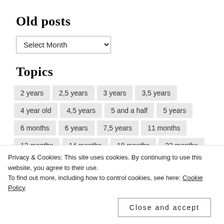Old posts
Select Month
Topics
2 years
2,5 years
3 years
3,5 years
4 year old
4,5 years
5 and a half
5 years
6 months
6 years
7,5 years
11 months
12 months
14 months
18 months
22 months
advent
almost 3
almost 4
animals
autumn
Privacy & Cookies: This site uses cookies. By continuing to use this website, you agree to their use.
To find out more, including how to control cookies, see here: Cookie Policy
Close and accept